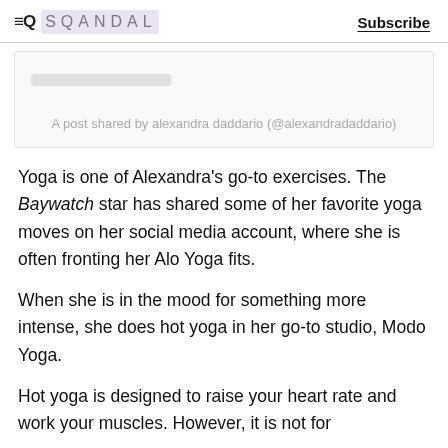≡Q  SQANDAL  Subscribe
[Figure (screenshot): Embedded social media post caption area from alexandra daddario (@alexandradaddario)]
A post shared by alexandra daddario (@alexandradaddario)
Yoga is one of Alexandra's go-to exercises. The Baywatch star has shared some of her favorite yoga moves on her social media account, where she is often fronting her Alo Yoga fits.
When she is in the mood for something more intense, she does hot yoga in her go-to studio, Modo Yoga.
Hot yoga is designed to raise your heart rate and work your muscles. However, it is not for